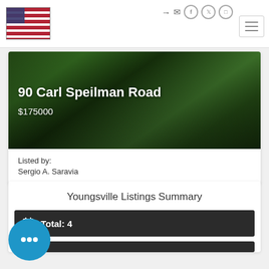[Figure (screenshot): Website header with American flag logo and social media icons (login, mail, Facebook, Twitter, Instagram) plus hamburger menu]
[Figure (photo): Outdoor greenery/garden staircase photo used as hero image for property listing]
90 Carl Speilman Road
$175000
Listed by:
Sergio A. Saravia
Youngsville Listings Summary
Total: 4